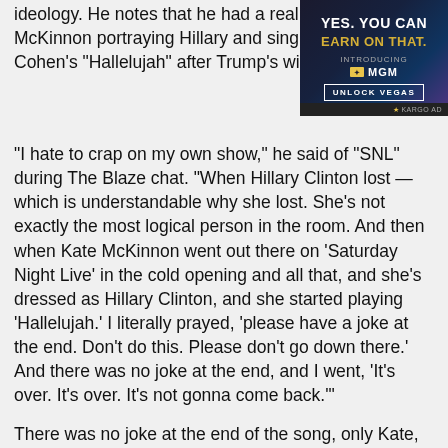ideology. He notes that he had a real issue with McKinnon portraying Hillary and singing Leonard Cohen's "Hallelujah" after Trump's win w...
[Figure (other): Advertisement for MGM Rewards: 'YES. YOU CAN EARN ON THAT. INTRODUCING MGM REWARDS. UNLOCK VEGAS.' with KARGO AD label.]
"I hate to crap on my own show," he said of "SNL" during The Blaze chat. "When Hillary Clinton lost — which is understandable why she lost. She's not exactly the most logical person in the room. And then when Kate McKinnon went out there on 'Saturday Night Live' in the cold opening and all that, and she's dressed as Hillary Clinton, and she started playing 'Hallelujah.' I literally prayed, 'please have a joke at the end. Don't do this. Please don't go down there.' And there was no joke at the end, and I went, 'It's over. It's over. It's not gonna come back.'"
There was no joke at the end of the song, only Kate, as Hillary, telling viewers, "I'm not giving up, and neither